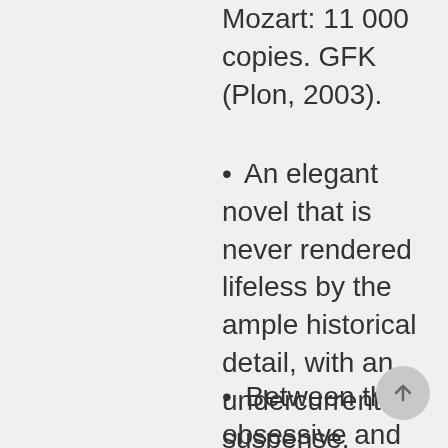Mozart: 11 000 copies. GFK (Plon, 2003).
An elegant novel that is never rendered lifeless by the ample historical detail, with an undercurrent of suspense.
Between the obsessive and morbid power of